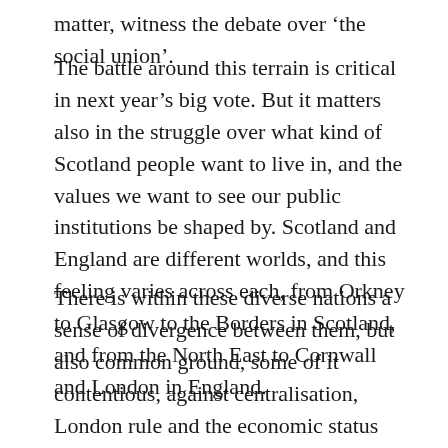matter, witness the debate over 'the social union'.
The battle around this terrain is critical in next year's big vote. But it matters also in the struggle over what kind of Scotland people want to live in, and the values we want to see our public institutions be shaped by. Scotland and England are different worlds, and this feeling varies across each, from Orkney to Glasgow to the Borders in Scotland, and from the North East to Cornwall and London in England.
There is within these diverse nations a sense of divergence between them, but also common ground, some of it contentious, against centralisation, London rule and the economic status quo. Who in Scotland and the UK can speak for this divided politics and statehood is a challenge equally unionists, nationalists and